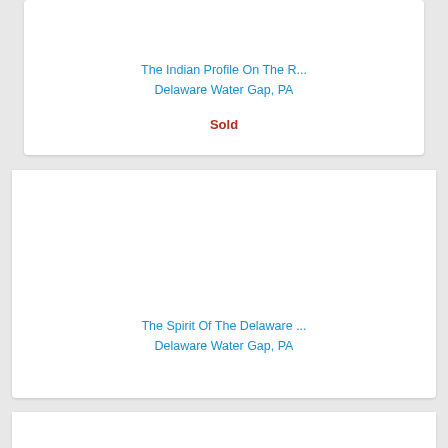The Indian Profile On The R...
Delaware Water Gap, PA
Sold
[Figure (photo): Empty white card area for artwork image]
The Spirit Of The Delaware ...
Delaware Water Gap, PA
[Figure (photo): Empty white card area for artwork image at bottom]